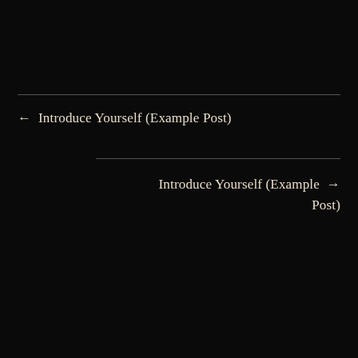← Introduce Yourself (Example Post)
Introduce Yourself (Example Post) →